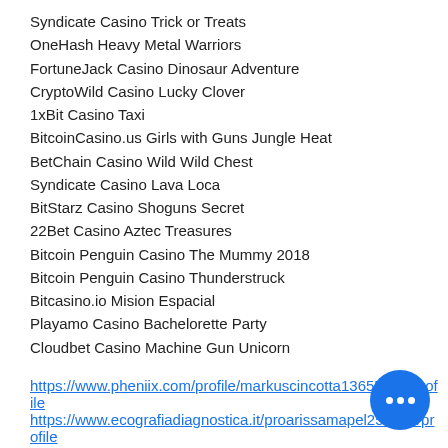Syndicate Casino Trick or Treats
OneHash Heavy Metal Warriors
FortuneJack Casino Dinosaur Adventure
CryptoWild Casino Lucky Clover
1xBit Casino Taxi
BitcoinCasino.us Girls with Guns Jungle Heat
BetChain Casino Wild Wild Chest
Syndicate Casino Lava Loca
BitStarz Casino Shoguns Secret
22Bet Casino Aztec Treasures
Bitcoin Penguin Casino The Mummy 2018
Bitcoin Penguin Casino Thunderstruck
Bitcasino.io Mision Espacial
Playamo Casino Bachelorette Party
Cloudbet Casino Machine Gun Unicorn
https://www.pheniix.com/profile/markuscincotta13655158/profile
https://www.ecografiadiagnostica.it/pro...arissamapel251488/profile